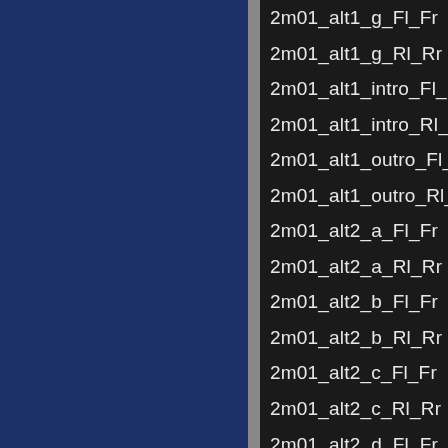[Figure (screenshot): Dark UI panel showing a blue panel on the left and a list of audio/stem file names on a dark background on the right]
2m01_alt1_g_Fl_Fr
2m01_alt1_g_Rl_Rr
2m01_alt1_intro_Fl_Fr
2m01_alt1_intro_Rl_Rr
2m01_alt1_outro_Fl_Fr
2m01_alt1_outro_Rl_Rr
2m01_alt2_a_Fl_Fr
2m01_alt2_a_Rl_Rr
2m01_alt2_b_Fl_Fr
2m01_alt2_b_Rl_Rr
2m01_alt2_c_Fl_Fr
2m01_alt2_c_Rl_Rr
2m01_alt2_d_Fl_Fr
2m01_alt2_d_Rl_Rr
2m01_alt2_e_Fl_Fr
2m01_alt2_e_Rl_Rr